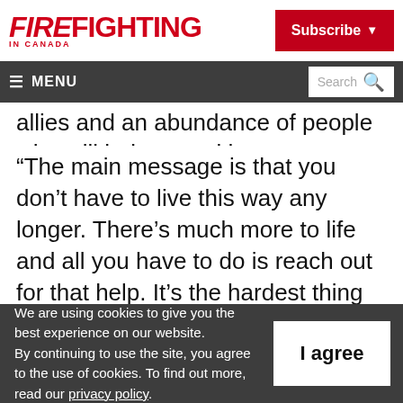FIREFighting IN CANADA | Subscribe
≡ MENU | Search
allies and an abundance of people who will help you with your recovery.
“The main message is that you don’t have to live this way any longer. There’s much more to life and all you have to do is reach out for that help. It’s the hardest thing to do, but it’s the
We are using cookies to give you the best experience on our website.
By continuing to use the site, you agree to the use of cookies.
To find out more, read our privacy policy.